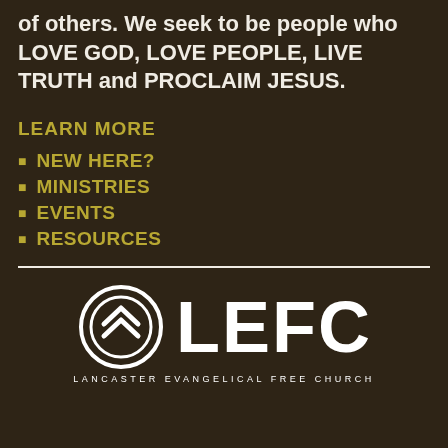of others. We seek to be people who LOVE GOD, LOVE PEOPLE, LIVE TRUTH and PROCLAIM JESUS.
LEARN MORE
NEW HERE?
MINISTRIES
EVENTS
RESOURCES
[Figure (logo): LEFC Lancaster Evangelical Free Church logo with circular chevron icon in white]